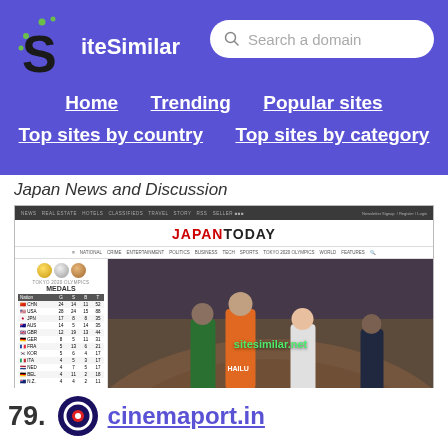SiteSimilar - Search a domain
Home   Trending   Popular sites   Top sites by country   Top sites by category
Japan News and Discussion
[Figure (screenshot): Screenshot of japantoday.com showing the site header, navigation bar with NATIONAL, CRIME, ENTERTAINMENT, POLITICS, BUSINESS, TECH, SPORTS, TOKYO 2020 OLYMPICS, WORLD, FEATURES, a Tokyo 2020 Olympics medals table on the left, and a photo of athletes running on the right with sitesimilar.net watermark]
japantoday.com similar sites
79. cinemaport.in